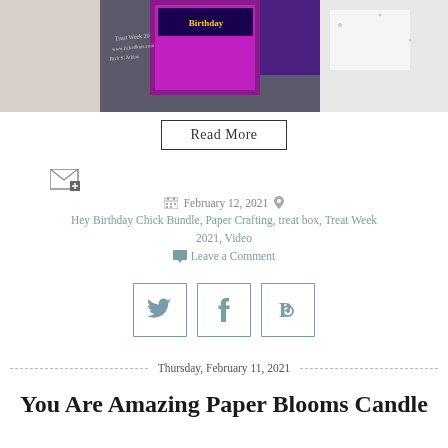[Figure (photo): Top portion of a blog post image showing birthday-themed paper crafting projects with colorful cards and stamps]
Read More
[Figure (other): Email subscription icon]
February 12, 2021
Hey Birthday Chick Bundle, Paper Crafting, treat box, Treat Week 2021, Video
Leave a Comment
[Figure (other): Twitter share icon]
[Figure (other): Facebook share icon]
[Figure (other): Pinterest share icon]
Thursday, February 11, 2021
You Are Amazing Paper Blooms Candle